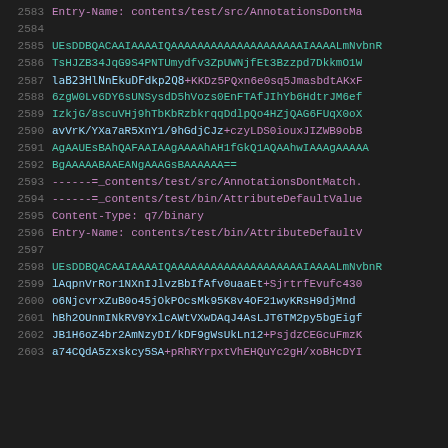2583  Entry-Name: contents/test/src/AnnotationsDontMa
2584
2585  UEsDDBQACAAIAAAAIQAAAAAAAAAAAAAAAAAAAAIAAAALmNvbnR
2586  TsHJZB34JqG9S4PNTUmydfv3ZpUWNjfEt3Bzzpd7DkkmO1W
2587  laB23HlNnEkuDFdkp2Q8+KKDz5PQxn6e0sq5JmasbdtAKxF
2588  6zgW0Lv6DY6sUNSysdD5hVozs0EnFTAfJIhYb6HdtrJM6ef
2589  IzkjG/8scuVHj9hTbKbRzbkrqqDdlpQo4HZjQAG6FUqX0oX
2590  avVrK/YXa7aR5XnY1/9hGdjCJz+czyLDS0iouxJIZWB9obB
2591  AgAAUEsBAhQAFAAIAAgAAAAhAH1fGkQ1AQAAhwIAAAgAAAAA
2592  BgAAAAABAAEANgAAAGsBAAAAAA==
2593  ------=_contents/test/src/AnnotationsDontMatch.
2594  ------=_contents/test/bin/AttributeDefaultValue
2595  Content-Type: q7/binary
2596  Entry-Name: contents/test/bin/AttributeDefaultV
2597
2598  UEsDDBQACAAIAAAAIQAAAAAAAAAAAAAAAAAAAAIAAAALmNvbnR
2599  lAqpnVrRor1NXnIJlvzBbIfAfv0uaaEt+SjrtrfEvufc430
2600  o6NjcvrxZuB0o45jOkPOcsMk95K8v4OF21wyKRsH9djMnd
2601  hBh2OUnmINkRV9YxlcAWtVXwDAqJ4AsLJT6TM2py5bgEigf
2602  JB1H6oZ4br2AmNzyDI/kDF9gWsUkLn12+PsjdzCEGcuFmzK
2603  a74CQdA5zxskcy5SA+pRhRYrpxtVhEHQuYc2gH/xoBHcDYI